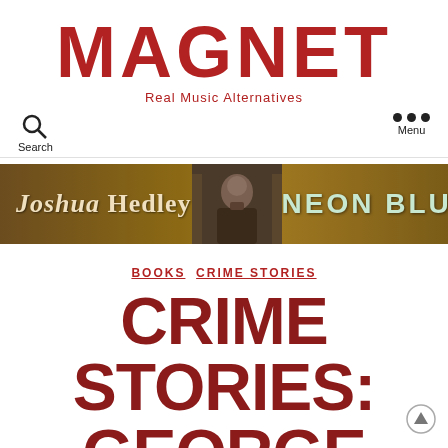MAGNET
Real Music Alternatives
[Figure (infographic): Joshua Hedley Neon Blue album advertisement banner with brown background, artist photo in center, serif text on left and sans-serif text on right]
BOOKS  CRIME STORIES
CRIME STORIES: GEORGE PELECANOS'